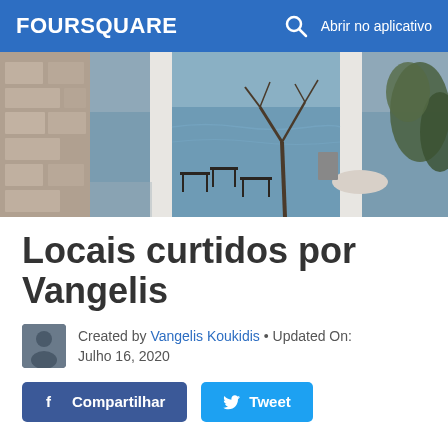FOURSQUARE   🔍  Abrir no aplicativo
[Figure (photo): Outdoor restaurant/taverna scene viewed through stone archway, with water/sea visible in background, bare tree, chairs and tables, overcast rainy day]
Locais curtidos por Vangelis
Created by Vangelis Koukidis • Updated On: Julho 16, 2020
Compartilhar   Tweet